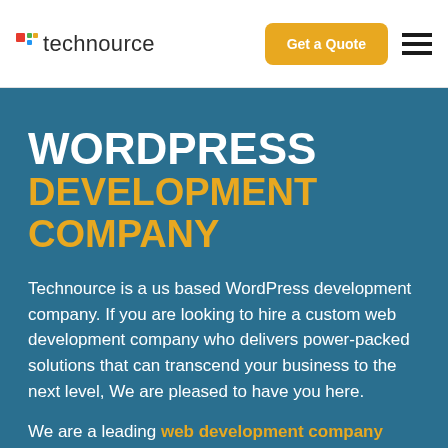technource — Get a Quote [navigation]
WORDPRESS DEVELOPMENT COMPANY
Technource is a us based WordPress development company. If you are looking to hire a custom web development company who delivers power-packed solutions that can transcend your business to the next level, We are pleased to have you here.
We are a leading web development company